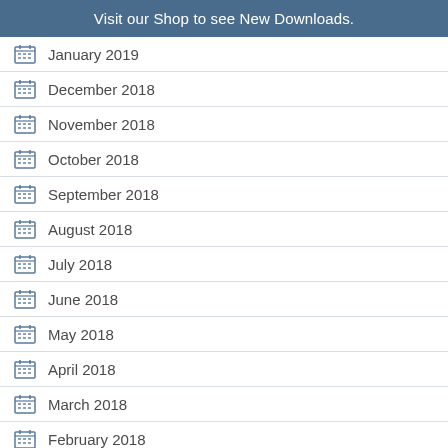Visit our Shop to see New Downloads.
January 2019
December 2018
November 2018
October 2018
September 2018
August 2018
July 2018
June 2018
May 2018
April 2018
March 2018
February 2018
January 2018
November 2017